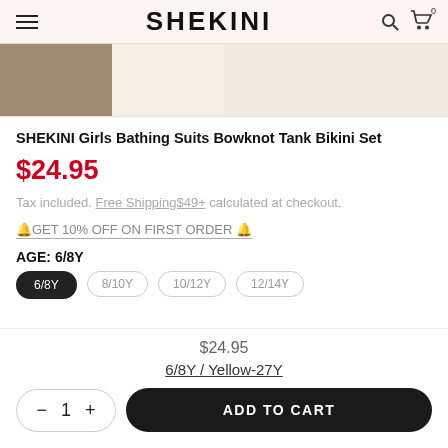SHEKINI
[Figure (other): Four color swatches in a row: tan/brown, cream/off-white (x3)]
SHEKINI Girls Bathing Suits Bowknot Tank Bikini Set
$24.95
Tax included. Free Shipping$49+ calculated at checkout.
🔔GET 10% OFF ON FIRST ORDER 🔔
AGE: 6/8Y
$24.95
6/8Y / Yellow-27Y
− 1 +  ADD TO CART